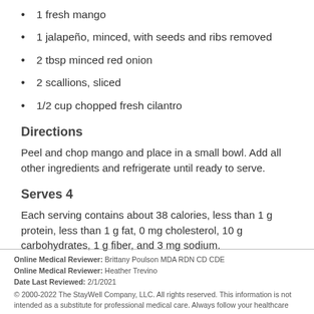1 fresh mango
1 jalapeño, minced, with seeds and ribs removed
2 tbsp minced red onion
2 scallions, sliced
1/2 cup chopped fresh cilantro
Directions
Peel and chop mango and place in a small bowl. Add all other ingredients and refrigerate until ready to serve.
Serves 4
Each serving contains about 38 calories, less than 1 g protein, less than 1 g fat, 0 mg cholesterol, 10 g carbohydrates, 1 g fiber, and 3 mg sodium.
Online Medical Reviewer: Brittany Poulson MDA RDN CD CDE
Online Medical Reviewer: Heather Trevino
Date Last Reviewed: 2/1/2021
© 2000-2022 The StayWell Company, LLC. All rights reserved. This information is not intended as a substitute for professional medical care. Always follow your healthcare